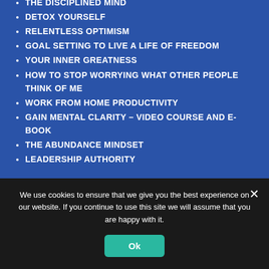THE DISCIPLINED MIND
DETOX YOURSELF
RELENTLESS OPTIMISM
GOAL SETTING TO LIVE A LIFE OF FREEDOM
YOUR INNER GREATNESS
HOW TO STOP WORRYING WHAT OTHER PEOPLE THINK OF ME
WORK FROM HOME PRODUCTIVITY
GAIN MENTAL CLARITY – VIDEO COURSE AND E-BOOK
THE ABUNDANCE MINDSET
LEADERSHIP AUTHORITY
FULL-MARKETING-PACKAGE
MULTIPLE INTERNET MARKETING COURSES
HOW TO: 50 VIDEOS MOST ONLINE MARKETING FAQ
E-COMMERCE VIDEOS AND E-BOOKS COURSES
We use cookies to ensure that we give you the best experience on our website. If you continue to use this site we will assume that you are happy with it.
Ok